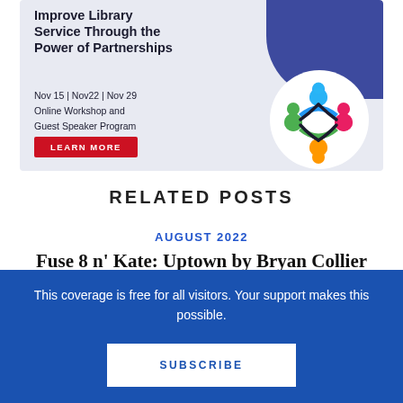[Figure (infographic): Advertisement banner for an online workshop: 'Improve Library Service Through the Power of Partnerships', Nov 15 | Nov22 | Nov 29, Online Workshop and Guest Speaker Program, with a LEARN MORE button and a colorful people-circle logo on a light blue background with dark blue accent.]
RELATED POSTS
AUGUST 2022
Fuse 8 n' Kate: Uptown by Bryan Collier
This coverage is free for all visitors. Your support makes this possible.
SUBSCRIBE